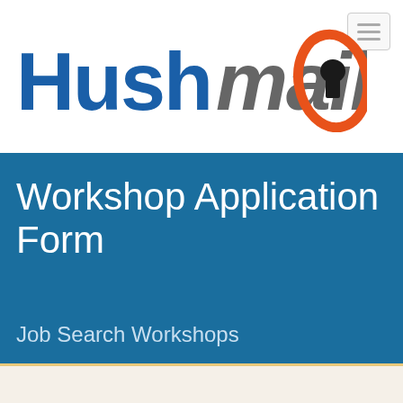[Figure (logo): Hushmail logo: blue bold text 'Hushmail' followed by an orange oval with a black keyhole icon inside]
Workshop Application Form
Job Search Workshops